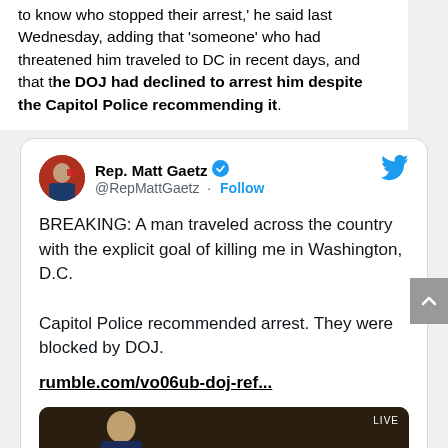to know who stopped their arrest,' he said last Wednesday, adding that 'someone' who had threatened him traveled to DC in recent days, and that the DOJ had declined to arrest him despite the Capitol Police recommending it.
[Figure (screenshot): Embedded tweet from Rep. Matt Gaetz (@RepMattGaetz) with verified badge and Follow link. Tweet reads: 'BREAKING: A man traveled across the country with the explicit goal of killing me in Washington, D.C. Capitol Police recommended arrest. They were blocked by DOJ. rumble.com/vo06ub-doj-ref...' with a video thumbnail showing 'LIVE Watch on Twitter'.]